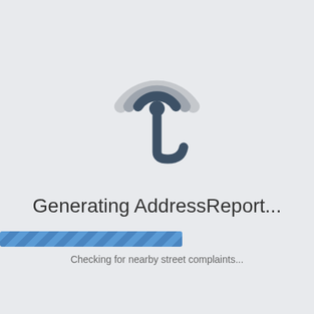[Figure (logo): Circular radio-wave / location-pin logo icon in dark blue-grey and light grey tones, resembling a stylized radar or broadcast symbol with a pin drop shape at center-bottom.]
Generating AddressReport...
[Figure (infographic): A horizontal progress bar approximately 25% filled with a blue diagonal-stripe pattern on a light grey background track.]
Checking for nearby street complaints...